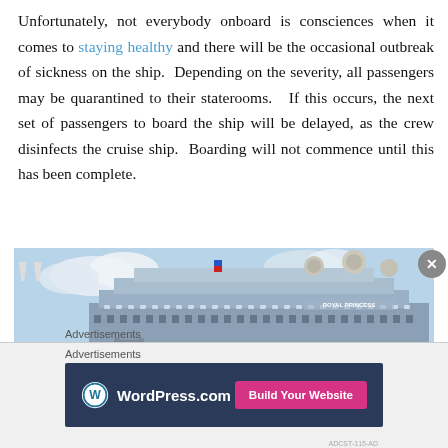Unfortunately, not everybody onboard is consciences when it comes to staying healthy and there will be the occasional outbreak of sickness on the ship. Depending on the severity, all passengers may be quarantined to their staterooms. If this occurs, the next set of passengers to board the ship will be delayed, as the crew disinfects the cruise ship. Boarding will not commence until this has been complete.
[Figure (photo): Large cruise ship (Royal Princess) viewed from the side, showing multiple decks with balconies, radar domes on top, and a blue sky with clouds in the background.]
Advertisements
[Figure (screenshot): WordPress.com advertisement banner with dark navy background, WordPress logo on the left, and a pink 'Build Your Website' button on the right.]